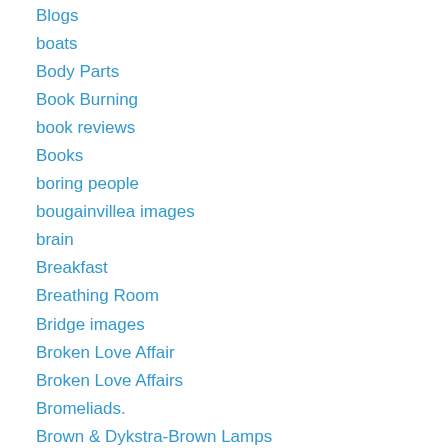Blogs
boats
Body Parts
Book Burning
book reviews
Books
boring people
bougainvillea images
brain
Breakfast
Breathing Room
Bridge images
Broken Love Affair
Broken Love Affairs
Bromeliads.
Brown & Dykstra-Brown Lamps
Brunei
brutality towards women
Bucket List
Bugs